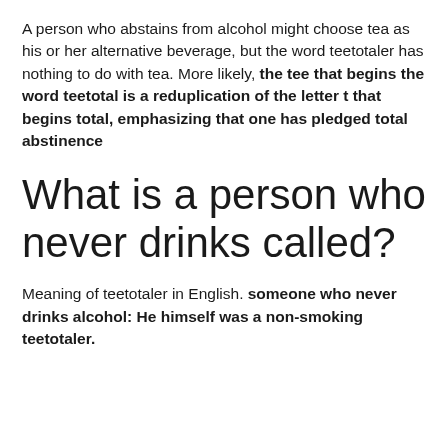A person who abstains from alcohol might choose tea as his or her alternative beverage, but the word teetotaler has nothing to do with tea. More likely, the tee that begins the word teetotal is a reduplication of the letter t that begins total, emphasizing that one has pledged total abstinence
What is a person who never drinks called?
Meaning of teetotaler in English. someone who never drinks alcohol: He himself was a non-smoking teetotaler.